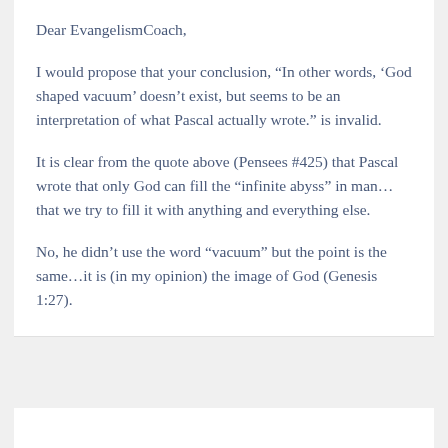Dear EvangelismCoach,
I would propose that your conclusion, “In other words, ‘God shaped vacuum’ doesn’t exist, but seems to be an interpretation of what Pascal actually wrote.” is invalid.
It is clear from the quote above (Pensees #425) that Pascal wrote that only God can fill the “infinite abyss” in man…that we try to fill it with anything and everything else.
No, he didn’t use the word “vacuum” but the point is the same…it is (in my opinion) the image of God (Genesis 1:27).